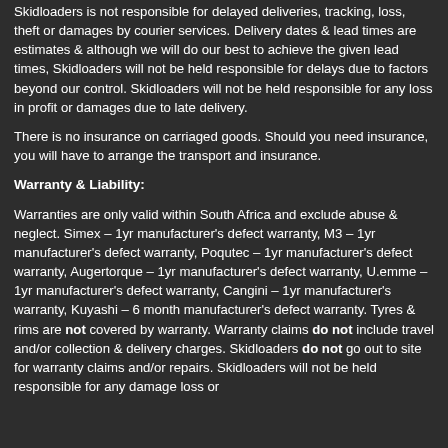Skidloaders is not responsible for delayed deliveries, tracking, loss, theft or damages by courier services. Delivery dates & lead times are estimates & although we will do our best to achieve the given lead times, Skidloaders will not be held responsible for delays due to factors beyond our control. Skidloaders will not be held responsible for any loss in profit or damages due to late delivery.
There is no insurance on carriaged goods. Should you need insurance, you will have to arrange the transport and insurance.
Warranty & Liability:
Warranties are only valid within South Africa and exclude abuse & neglect. Simex – 1yr manufacturer's defect warranty, M3 – 1yr manufacturer's defect warranty, Poqutec – 1yr manufacturer's defect warranty, Augertorque – 1yr manufacturer's defect warranty, U.emme – 1yr manufacturer's defect warranty, Cangini – 1yr manufacturer's warranty, Kuyashi – 6 month manufacturer's defect warranty. Tyres & rims are not covered by warranty. Warranty claims do not include travel and/or collection & delivery charges. Skidloaders do not go out to site for warranty claims and/or repairs. Skidloaders will not be held responsible for any damage loss or